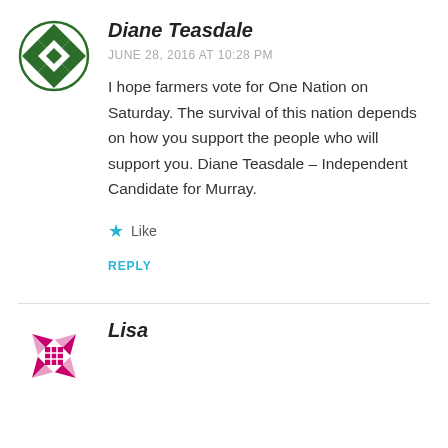[Figure (logo): Green geometric diamond/quilt pattern avatar icon for Diane Teasdale]
Diane Teasdale
JUNE 28, 2016 AT 10:28 PM
I hope farmers vote for One Nation on Saturday. The survival of this nation depends on how you support the people who will support you. Diane Teasdale – Independent Candidate for Murray.
★ Like
REPLY
[Figure (logo): Pink/magenta geometric pinwheel/flower pattern avatar icon for Lisa]
Lisa